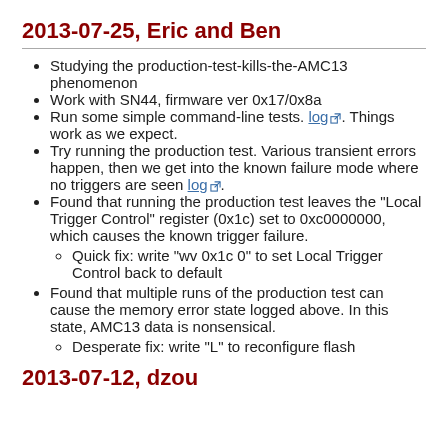2013-07-25, Eric and Ben
Studying the production-test-kills-the-AMC13 phenomenon
Work with SN44, firmware ver 0x17/0x8a
Run some simple command-line tests. log. Things work as we expect.
Try running the production test. Various transient errors happen, then we get into the known failure mode where no triggers are seen log.
Found that running the production test leaves the "Local Trigger Control" register (0x1c) set to 0xc0000000, which causes the known trigger failure.
Quick fix: write "wv 0x1c 0" to set Local Trigger Control back to default
Found that multiple runs of the production test can cause the memory error state logged above. In this state, AMC13 data is nonsensical.
Desperate fix: write "L" to reconfigure flash
2013-07-12, dzou